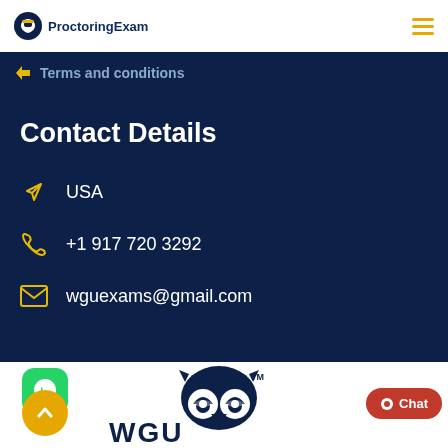ProctoringExam
Terms and conditions
Contact Details
USA
+1 917 720 3292
wguexams@gmail.com
[Figure (logo): WGU owl logo with TM mark on white card background]